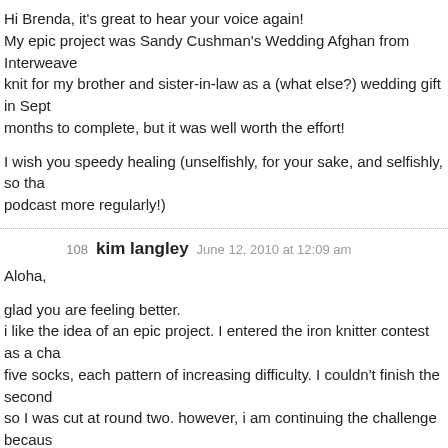Hi Brenda, it's great to hear your voice again! My epic project was Sandy Cushman's Wedding Afghan from Interweave knit for my brother and sister-in-law as a (what else?) wedding gift in Sept months to complete, but it was well worth the effort!

I wish you speedy healing (unselfishly, for your sake, and selfishly, so tha podcast more regularly!)
108  kim langley   June 12, 2010 at 12:09 am
Aloha,

glad you are feeling better. i like the idea of an epic project. I entered the iron knitter contest as a cha five socks, each pattern of increasing difficulty. I couldn't finish the second so I was cut at round two. however, i am continuing the challenge becaus myself. The round two second sock is nearly done, my first short row heel the needles, a toe up using Judy's magic cast on, another first for me. As I will cast on the third pattern, stranded colorwork. For me this challenge h epic, demanding slices of limited knitting time.